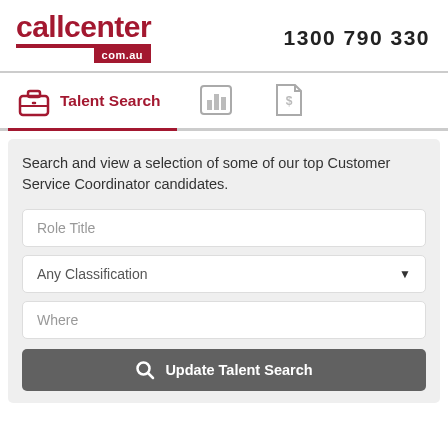[Figure (logo): callcenter.com.au logo in dark red with red bar underline]
1300 790 330
[Figure (screenshot): Talent Search tab navigation with briefcase icon (active), bar chart icon, and dollar document icon]
Search and view a selection of some of our top Customer Service Coordinator candidates.
Role Title
Any Classification
Where
Update Talent Search